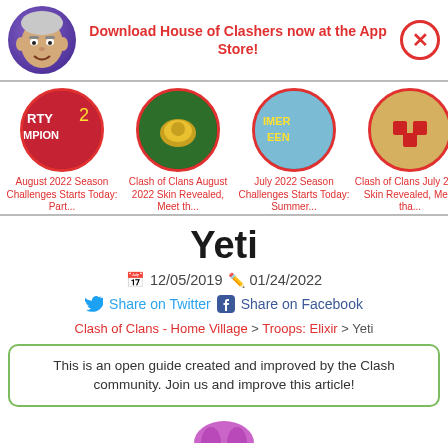[Figure (infographic): App download banner with game character avatar, text and close button]
Download House of Clashers now at the App Store!
[Figure (infographic): Four circular thumbnail images for related articles about Clash of Clans]
August 2022 Season Challenges Starts Today: Part...
Clash of Clans August 2022 Skin Revealed, Meet th...
July 2022 Season Challenges Starts Today: Summer...
Clash of Clans July 2022 Skin Revealed, Meet tha...
Yeti
📅 12/05/2019 ✏ 01/24/2022
Share on Twitter  Share on Facebook
Clash of Clans - Home Village > Troops: Elixir > Yeti
This is an open guide created and improved by the Clash community. Join us and improve this article!